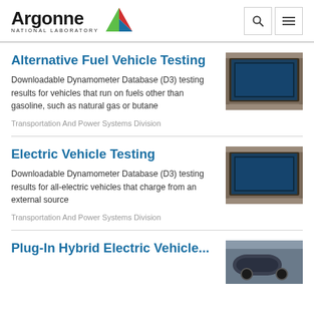Argonne National Laboratory
Alternative Fuel Vehicle Testing
Downloadable Dynamometer Database (D3) testing results for vehicles that run on fuels other than gasoline, such as natural gas or butane
Transportation And Power Systems Division
[Figure (photo): Photo of vehicle testing equipment - dynamometer with screen display]
Electric Vehicle Testing
Downloadable Dynamometer Database (D3) testing results for all-electric vehicles that charge from an external source
Transportation And Power Systems Division
[Figure (photo): Photo of vehicle testing equipment - dynamometer with screen display]
Plug-In Hybrid Electric Vehicle...